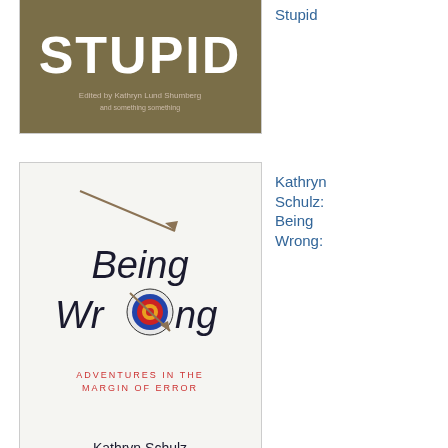[Figure (illustration): Book cover for 'Stupid' - partial view at top, dark background with large white text 'STUPID', edited by Kathryn Lund]
Stupid
[Figure (illustration): Book cover for 'Being Wrong: Adventures in the Margin of Error' by Kathryn Schulz - white cover with archery target bullseye replacing the 'o' in Wrong, arrow through target]
Kathryn Schulz: Being Wrong:
Adventures in the Margin of Error
[Figure (illustration): Book cover for 'The Klutz Book of Inventions' by editors of Klutz - dark navy blue cover with person wearing funnel-like hat invention, New York Times bestseller badge]
editors of Klutz: The Klutz Book of
Inventions